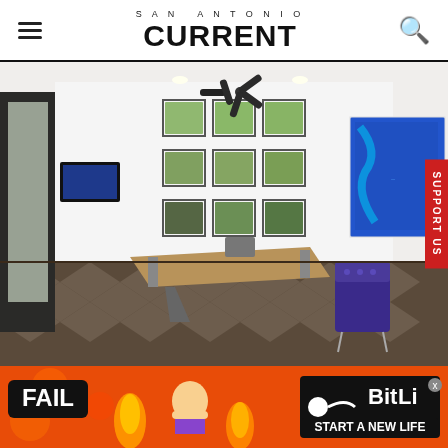SAN ANTONIO CURRENT
[Figure (photo): Interior of a modern home office with herringbone wood floors, large wooden desk, ceiling fan, small square windows arranged in a grid on a white wall, a large blue panoramic artwork on the right wall, a purple velvet tufted armchair, and a wall-mounted TV on the left side.]
[Figure (infographic): BitLife mobile game advertisement banner with orange/red fire background, FAIL text, cartoon blonde woman doing facepalm, fire flames, BitLife logo, and START A NEW LIFE text.]